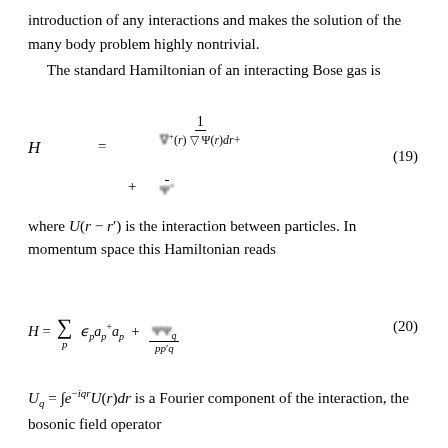introduction of any interactions and makes the solution of the many body problem highly nontrivial.
The standard Hamiltonian of an interacting Bose gas is
where U(r − r′) is the interaction between particles. In momentum space this Hamiltonian reads
U_q = ∫e^{−iqr}U(r)dr is a Fourier component of the interaction, the bosonic field operator